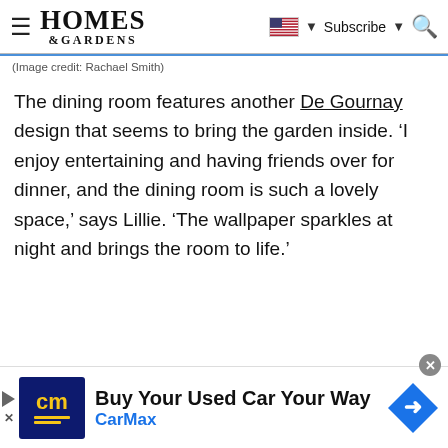HOMES & GARDENS — Subscribe — Search
(Image credit: Rachael Smith)
The dining room features another De Gournay design that seems to bring the garden inside. 'I enjoy entertaining and having friends over for dinner, and the dining room is such a lovely space,' says Lillie. 'The wallpaper sparkles at night and brings the room to life.'
[Figure (screenshot): CarMax advertisement banner: 'Buy Your Used Car Your Way' with CarMax logo and navigation arrow icon]